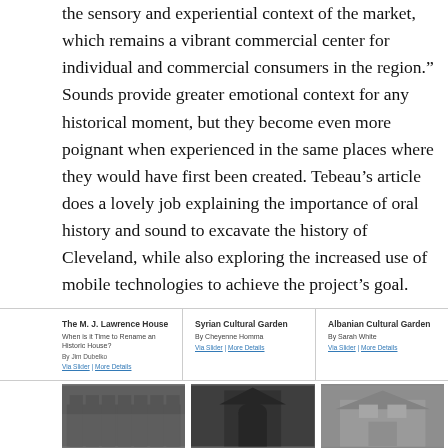the sensory and experiential context of the market, which remains a vibrant commercial center for individual and commercial consumers in the region." Sounds provide greater emotional context for any historical moment, but they become even more poignant when experienced in the same places where they would have first been created. Tebeau’s article does a lovely job explaining the importance of oral history and sound to excavate the history of Cleveland, while also exploring the increased use of mobile technologies to achieve the project’s goal.
The M. J. Lawrence House
When is it Time to Rename an Historic House?
By Jim Dubelko
Via slider | More Details
Syrian Cultural Garden
By Cheyenne Homma
Via Slider | More Details
Albanian Cultural Garden
By Sarah White
Via Slider | More Details
[Figure (photo): Black and white photograph of a historic multi-story building with arched windows]
[Figure (photo): Black and white photograph of a dark Gothic-style church building with a street lamp]
[Figure (photo): Black and white photograph of a Victorian-style house with trees]